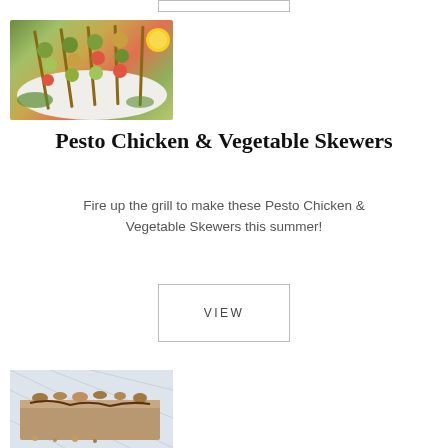[Figure (photo): Photo of Pesto Chicken & Vegetable Skewers on a white plate with lemon, skewers topped with green pesto-coated chicken and colorful vegetables]
Pesto Chicken & Vegetable Skewers
Fire up the grill to make these Pesto Chicken & Vegetable Skewers this summer!
VIEW
[Figure (photo): Photo of a dessert bar or cake slice with nuts and chocolate on top, served on a surface with a quilted background]